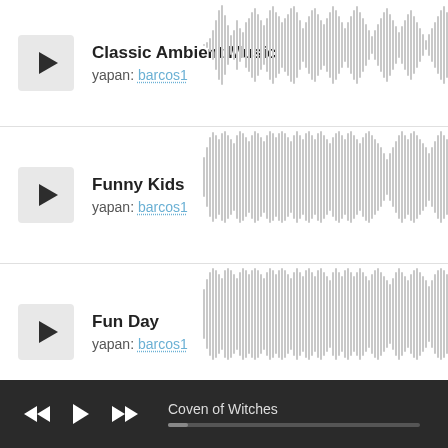Classic Ambient Music
yapan: barcos1
[Figure (other): Audio waveform visualization for Classic Ambient Music]
Funny Kids
yapan: barcos1
[Figure (other): Audio waveform visualization for Funny Kids]
Fun Day
yapan: barcos1
[Figure (other): Audio waveform visualization for Fun Day]
Background, Soothing, Ambient
[Figure (other): Audio waveform visualization for Background, Soothing, Ambient]
Coven of Witches